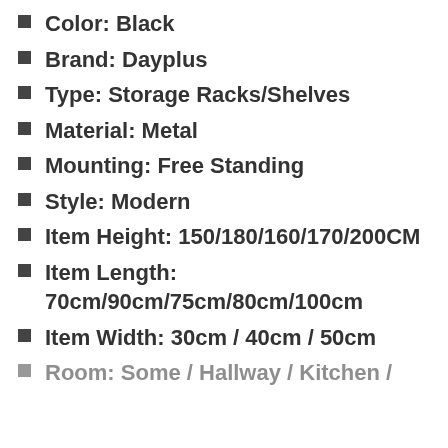Color: Black
Brand: Dayplus
Type: Storage Racks/Shelves
Material: Metal
Mounting: Free Standing
Style: Modern
Item Height: 150/180/160/170/200CM
Item Length: 70cm/90cm/75cm/80cm/100cm
Item Width: 30cm / 40cm / 50cm
Room: Some / Hallway / Kitchen / Living...